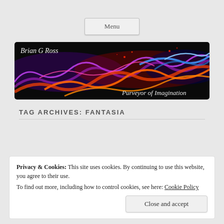Menu
[Figure (illustration): Website banner for Brian G Ross with colorful flame/smoke art on black background. Left text reads 'Brian G Ross' in cursive white, right text reads 'Purveyor of Imagination' in cursive white.]
TAG ARCHIVES: FANTASIA
Privacy & Cookies: This site uses cookies. By continuing to use this website, you agree to their use.
To find out more, including how to control cookies, see here: Cookie Policy
Close and accept